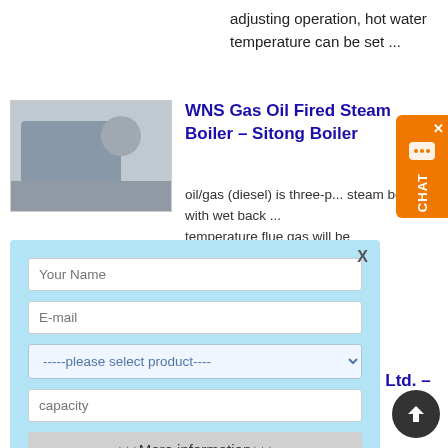adjusting operation, hot water temperature can be set ...
[Figure (photo): Photo of WNS Gas Oil Fired Steam Boiler industrial equipment]
WNS Gas Oil Fired Steam Boiler – Sitong Boiler
oil/gas (diesel) is three-pass steam boiler with wet back ... temperature flue gas will be the atmosphere after heat transfer through the mber into ... Fuel: Gas, oil, Diesel ... height of the between steam water interface and steam outlet.
Your Name
E-mail
-----please select product---- ▾
capacity
↓↓↓More information↓↓↓
Submit
[Figure (photo): Photo of Heze Boiler Factory industrial construction site]
Heze Boiler Factory Co., Ltd. – Boiler Tank